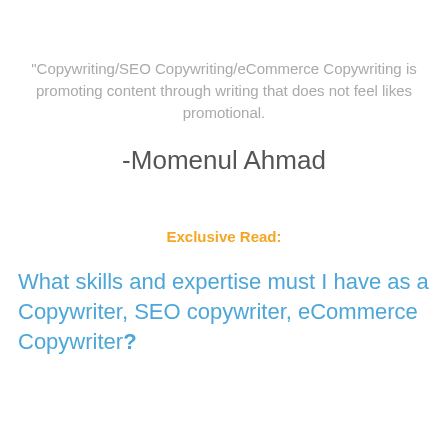"Copywriting/SEO Copywriting/eCommerce Copywriting is promoting content through writing that does not feel likes promotional.
-Momenul Ahmad
Exclusive Read:
What skills and expertise must I have as a Copywriter, SEO copywriter, eCommerce Copywriter?